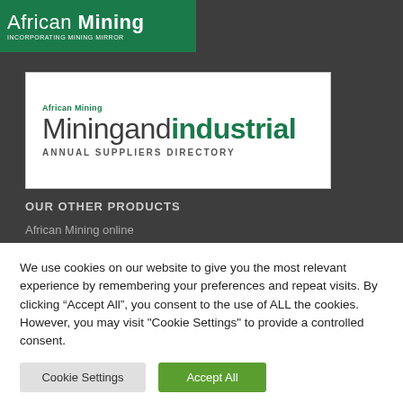[Figure (logo): African Mining logo with green background - white text reading 'African Mining' with bold 'Mining', and subtitle 'INCORPORATING MINING MIRROR']
[Figure (logo): African Mining - Miningand industrial - ANNUAL SUPPLIERS DIRECTORY logo on white background]
OUR OTHER PRODUCTS
African Mining online
We use cookies on our website to give you the most relevant experience by remembering your preferences and repeat visits. By clicking “Accept All”, you consent to the use of ALL the cookies. However, you may visit "Cookie Settings" to provide a controlled consent.